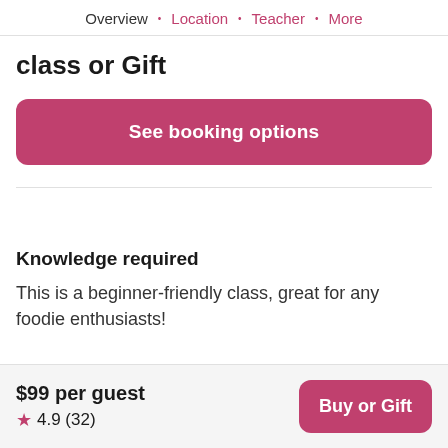Overview · Location · Teacher · More
class or Gift
See booking options
Knowledge required
This is a beginner-friendly class, great for any foodie enthusiasts!
$99 per guest ★ 4.9 (32)
Buy or Gift